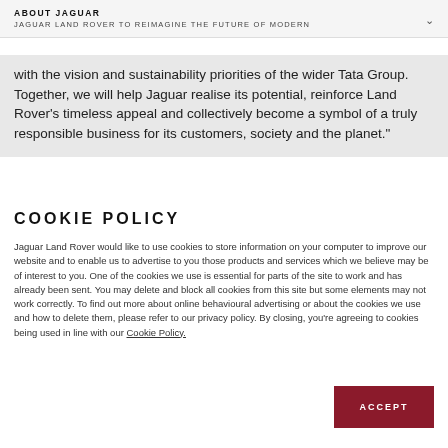ABOUT JAGUAR
JAGUAR LAND ROVER TO REIMAGINE THE FUTURE OF MODERN
with the vision and sustainability priorities of the wider Tata Group. Together, we will help Jaguar realise its potential, reinforce Land Rover's timeless appeal and collectively become a symbol of a truly responsible business for its customers, society and the planet."
COOKIE POLICY
Jaguar Land Rover would like to use cookies to store information on your computer to improve our website and to enable us to advertise to you those products and services which we believe may be of interest to you. One of the cookies we use is essential for parts of the site to work and has already been sent. You may delete and block all cookies from this site but some elements may not work correctly. To find out more about online behavioural advertising or about the cookies we use and how to delete them, please refer to our privacy policy. By closing, you're agreeing to cookies being used in line with our Cookie Policy.
ACCEPT